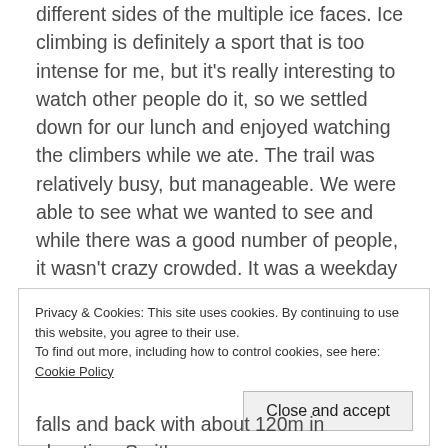climbing and there were several groups climbing along different sides of the multiple ice faces. Ice climbing is definitely a sport that is too intense for me, but it's really interesting to watch other people do it, so we settled down for our lunch and enjoyed watching the climbers while we ate. The trail was relatively busy, but manageable. We were able to see what we wanted to see and while there was a good number of people, it wasn't crazy crowded. It was a weekday though, so it might be worse on the weekends and I'm sure it's a lot busier in the summer.
Privacy & Cookies: This site uses cookies. By continuing to use this website, you agree to their use.
To find out more, including how to control cookies, see here: Cookie Policy
Close and accept
falls and back with about 120m in elevation. So it's